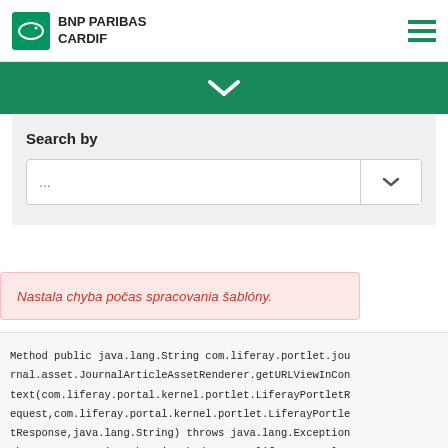[Figure (logo): BNP Paribas Cardif logo with fish icon and hamburger menu icon]
[Figure (other): Green banner with white chevron/down arrow]
Search by
...
Nastala chyba počas spracovania šablóny.
Method public java.lang.String com.liferay.portlet.journal.asset.JournalArticleAssetRenderer.getURLViewInContext(com.liferay.portal.kernel.portlet.LiferayPortletRequest,com.liferay.portal.kernel.portlet.LiferayPortletResponse,java.lang.String) throws java.lang.Exception threw an exception when invoked on com.liferay.portle